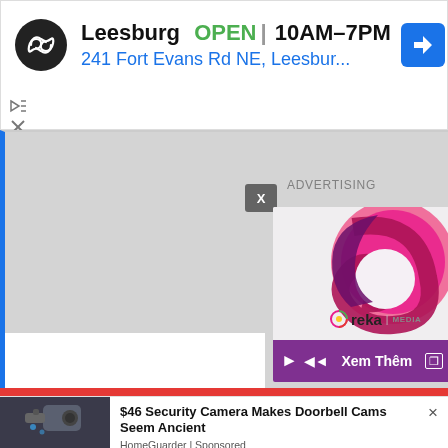[Figure (screenshot): Google Maps ad banner showing Leesburg store: circular black logo with infinity symbol, text 'Leesburg OPEN | 10AM-7PM' and '241 Fort Evans Rd NE, Leesbur...' with blue navigation arrow icon]
[Figure (screenshot): Google Maps gray map area with blue left border, showing a video ad overlay from Ureka Media with play/volume controls and 'Xem Thêm' button, plus an X close button and ADVERTISING label]
[Figure (screenshot): Bottom ad for '$46 Security Camera Makes Doorbell Cams Seem Ancient' by HomeGuarder | Sponsored, with security camera image on left]